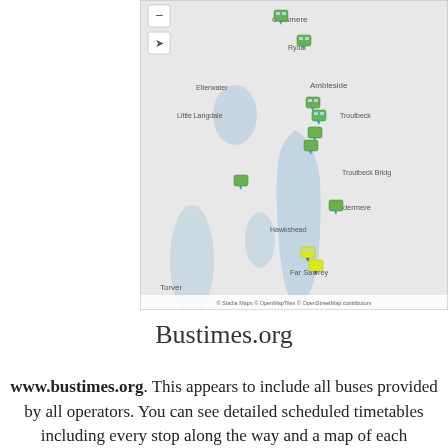be found at
[Figure (map): Interactive map showing bus stop locations around Windermere, Ambleside, Grasmere, Rydal, Elterwater, Troutbeck, Hawkshead, Far Sawrey, and surrounding Lake District areas. Multiple bus stop markers (green/blue icons) are visible along routes. Map attribution: © Stadia Maps © OpenMapTiles © OpenStreetMap contributors.]
Bustimes.org
www.bustimes.org. This appears to include all buses provided by all operators. You can see detailed scheduled timetables including every stop along the way and a map of each